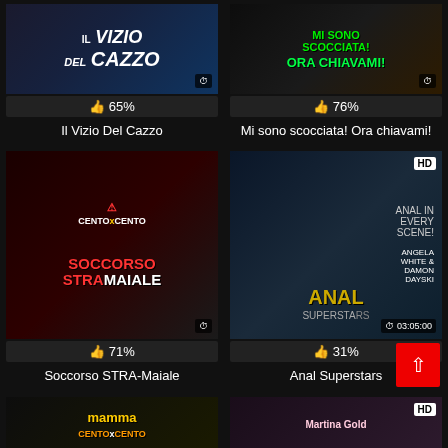[Figure (other): Thumbnail for Il Vizio Del Cazzo with clock icon]
[Figure (other): Thumbnail for Mi sono scocciata! Ora chiavami! with clock icon]
👍 65%
👍 76%
Il Vizio Del Cazzo
Mi sono scocciata! Ora chiavami!
[Figure (other): Thumbnail for Soccorso STRA-Maiale with clock icon]
[Figure (other): Thumbnail for Anal Superstars with HD badge and 03:05:00 duration]
👍 71%
👍 31%
Soccorso STRA-Maiale
Anal Superstars
[Figure (other): Thumbnail for Mamma Mi (partial, bottom row)]
[Figure (other): Thumbnail for Martina Gold with HD badge (partial, bottom row)]